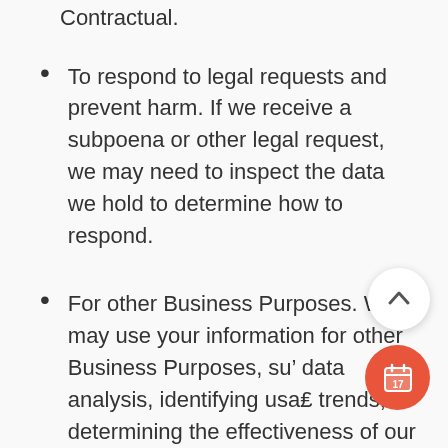Contractual.
To respond to legal requests and prevent harm. If we receive a subpoena or other legal request, we may need to inspect the data we hold to determine how to respond.
For other Business Purposes. We may use your information for other Business Purposes, such as data analysis, identifying usage trends, determining the effectiveness of our promotional campaigns and to evaluate and